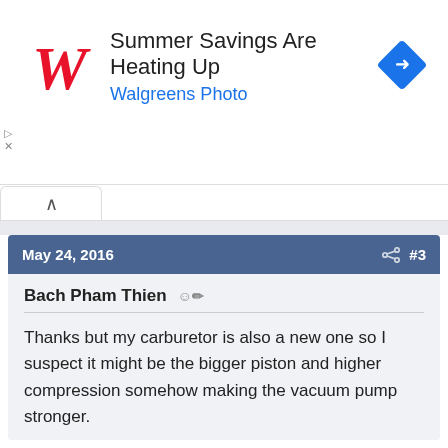[Figure (screenshot): Walgreens advertisement banner: red cursive W logo, text 'Summer Savings Are Heating Up' and 'Walgreens Photo' in blue, blue diamond navigation icon on right]
May 24, 2016  #3
Bach Pham Thien
Thanks but my carburetor is also a new one so I suspect it might be the bigger piston and higher compression somehow making the vacuum pump stronger.
Reply